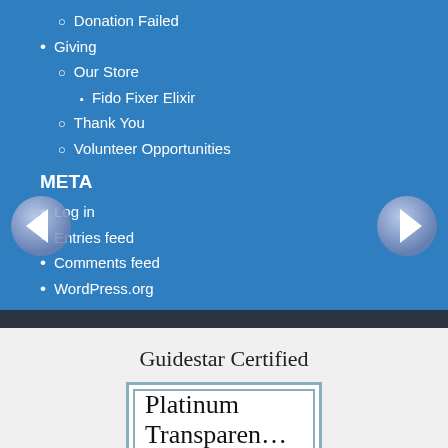Donation Failed
Giving
Our Store
Fido Fixer Elixir
Thank You
Volunteer Opportunities
META
Log in
Entries feed
Comments feed
WordPress.org
Guidestar Certified
Platinum
Transparency